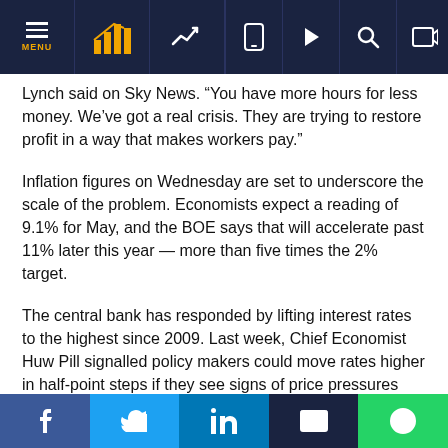Navigation bar with MENU, logo, chart icon, and icons for mobile, play, search, login
Lynch said on Sky News. “You have more hours for less money. We’ve got a real crisis. They are trying to restore profit in a way that makes workers pay.”
Inflation figures on Wednesday are set to underscore the scale of the problem. Economists expect a reading of 9.1% for May, and the BOE says that will accelerate past 11% later this year — more than five times the 2% target.
The central bank has responded by lifting interest rates to the highest since 2009. Last week, Chief Economist Huw Pill signalled policy makers could move rates higher in half-point steps if they see signs of price pressures seeping into wages.
Social share buttons: Facebook, Twitter, LinkedIn, Email, WhatsApp